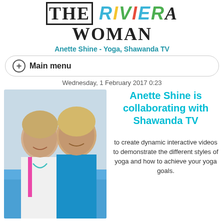[Figure (logo): The Riviera Woman logo with colorful letters]
Anette Shine - Yoga, Shawanda TV
Main menu
Wednesday, 1 February 2017 0:23
[Figure (photo): Two smiling women with blonde hair posing together outdoors]
Anette Shine is collaborating with Shawanda TV
to create dynamic interactive videos to demonstrate the different styles of yoga and how to achieve your yoga goals.